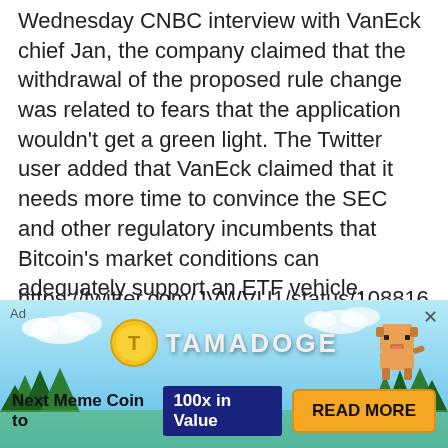Wednesday CNBC interview with VanEck chief Jan, the company claimed that the withdrawal of the proposed rule change was related to fears that the application wouldn't get a green light. The Twitter user added that VanEck claimed that it needs more time to convince the SEC and other regulatory incumbents that Bitcoin's market conditions can adequately support an ETF vehicle.
https://twitter.com/JVWVU1/status/108816101960681 0624
A tweet from Gabor Gurbacs, the head of VanEck's crypto division, recently corroborated this. Gurbacs
[Figure (infographic): Tamadoge advertisement banner with sky/mountain background. Shows Tamadoge logo (coin icon + text), a cartoon dog character, and bottom bar with text 'Next Meme Coin to 100x in Value' and 'READ MORE' button.]